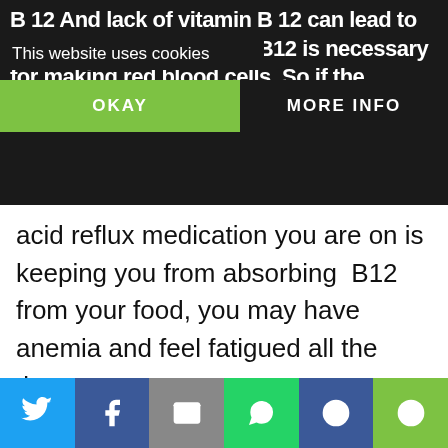B 12  And lack of vitamin B 12  can lead to anemia  because vitamin B12  is necessary for making red blood cells. So if the
This website uses cookies
OKAY
MORE INFO
acid reflux medication you are on is keeping you from absorbing  B12 from your food, you may have anemia and feel fatigued all the time.
There are many other medications as well that may make you feel tired all the time.
it $2 can protect 1 acre of irreplaceable forest homes in Amazon. How many acres are you willing to protect?
PROTECT FORESTS NOW